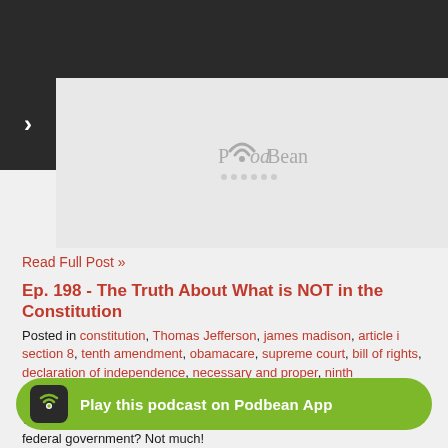[Figure (screenshot): Podbean podcast app interface showing top dark navigation bar with WiFi logo, Follow button, sidebar arrow, and embedded player area with PodBean logo and dot indicators]
Read Full Post »
Ep. 198 - The Truth About What is NOT in the Constitution
Posted in constitution, Thomas Jefferson, james madison, article i section 8, tenth amendment, obamacare, supreme court, bill of rights, declaration of independence, necessary and proper, ninth amendment, decentralization on May 11th, 2022 💬 Comments
What powers are granted by the United States Constitution to the federal government? Not much!
What is NOT in the Constitution? A lot! Things such as:
Privacy, abortion, assault weapons, old age pensions, welfare programs or infrastructure spending! There is no mention of a central bank - paper currency or digital cu... About education, h... environment
Play this podcast on Podbean App